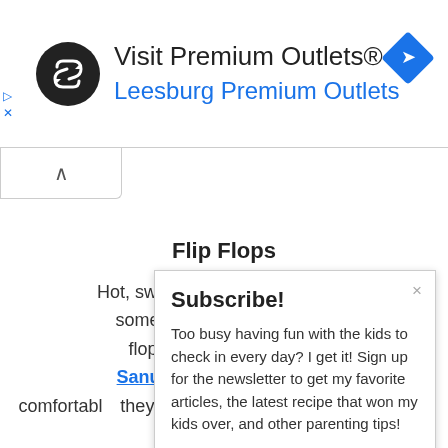[Figure (screenshot): Advertisement banner for Visit Premium Outlets / Leesburg Premium Outlets with circular black logo, navigation arrow icon, and blue text]
▷
X
[Figure (screenshot): Collapse/chevron up button below ad banner]
Flip Flops
Hot, swo... some of the... flops to... Sanuk flip... comfortable... they come in all sorts of
[Figure (screenshot): Subscribe! popup overlay: Too busy having fun with the kids to check in every day? I get it! Sign up for the newsletter to get my favorite articles, the latest recipe that won my kids over, and other parenting tips!]